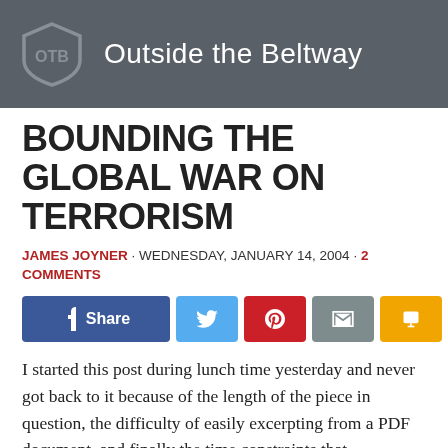Outside the Beltway
BOUNDING THE GLOBAL WAR ON TERRORISM
JAMES JOYNER · WEDNESDAY, JANUARY 14, 2004 · 2 COMMENTS
[Figure (other): Social share buttons: Facebook Share, Twitter, Pinterest, Email, SMS, Share]
I started this post during lunch time yesterday and never got back to it because of the length of the piece in question, the difficulty of easily excerpting from a PDF document, and finally the time constraints that